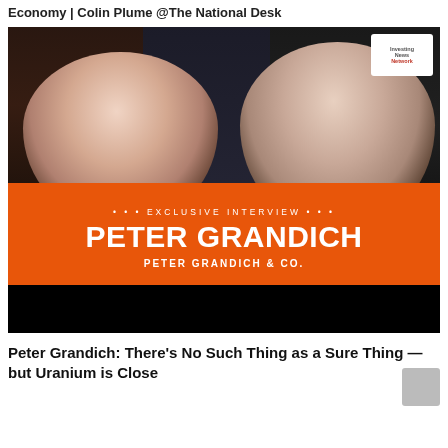Economy | Colin Plume @The National Desk
[Figure (screenshot): Video screenshot of a TV interview. A woman with dark hair in a grey turtleneck sits on the left, a man with grey hair and glasses in a red shirt sits on the right. Bookshelves visible in background. An orange banner with white text reads: EXCLUSIVE INTERVIEW · PETER GRANDICH · PETER GRANDICH & CO. The Investing News Network logo appears in the top right corner.]
Peter Grandich: There's No Such Thing as a Sure Thing — but Uranium is Close